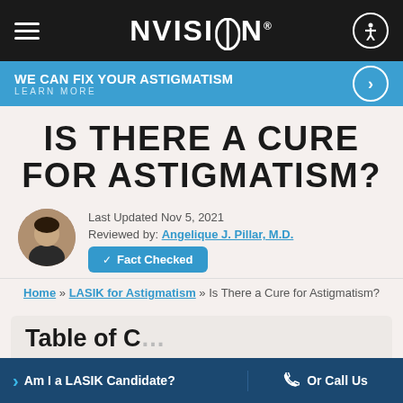NVISION
WE CAN FIX YOUR ASTIGMATISM LEARN MORE
IS THERE A CURE FOR ASTIGMATISM?
Last Updated Nov 5, 2021
Reviewed by: Angelique J. Pillar, M.D.
Fact Checked
Home » LASIK for Astigmatism » Is There a Cure for Astigmatism?
Table of Contents
Am I a LASIK Candidate?  Or Call Us